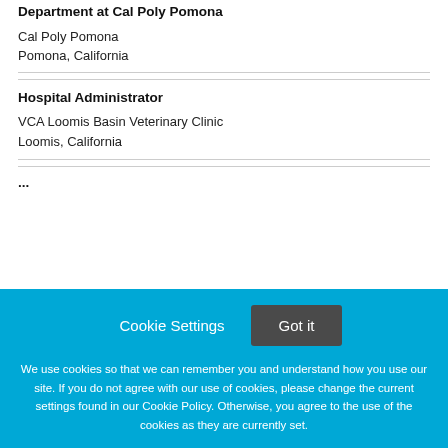Department at Cal Poly Pomona
Cal Poly Pomona
Pomona, California
Hospital Administrator
VCA Loomis Basin Veterinary Clinic
Loomis, California
We use cookies so that we can remember you and understand how you use our site. If you do not agree with our use of cookies, please change the current settings found in our Cookie Policy. Otherwise, you agree to the use of the cookies as they are currently set.